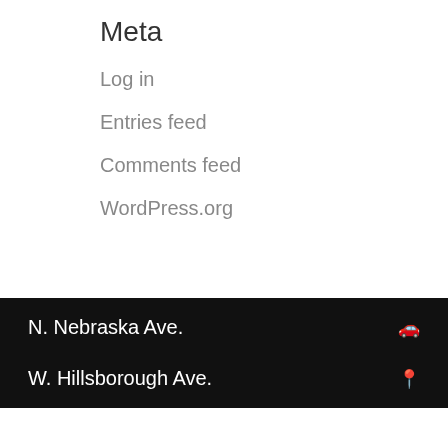Meta
Log in
Entries feed
Comments feed
WordPress.org
N. Nebraska Ave.
W. Hillsborough Ave.
2 Convenient Locations
Tampa
[Figure (map): Google Maps screenshot showing area around W. Hillsborough Ave and N. Nebraska Ave in Tampa, FL. Visible landmarks include Publix Super Market at Hillsboro Plaza, Krystal restaurant, La Lechonera, W Powhatan Ave, W Rio Vista Ave, N Macdill Ave, N Jam street.]